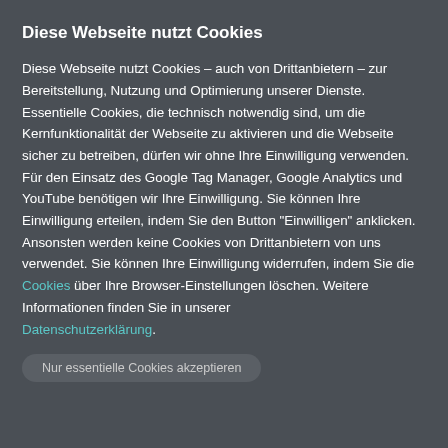Diese Webseite nutzt Cookies
Diese Webseite nutzt Cookies – auch von Drittanbietern – zur Bereitstellung, Nutzung und Optimierung unserer Dienste. Essentielle Cookies, die technisch notwendig sind, um die Kernfunktionalität der Webseite zu aktivieren und die Webseite sicher zu betreiben, dürfen wir ohne Ihre Einwilligung verwenden. Für den Einsatz des Google Tag Manager, Google Analytics und YouTube benötigen wir Ihre Einwilligung. Sie können Ihre Einwilligung erteilen, indem Sie den Button "Einwilligen" anklicken. Ansonsten werden keine Cookies von Drittanbietern von uns verwendet. Sie können Ihre Einwilligung widerrufen, indem Sie die Cookies über Ihre Browser-Einstellungen löschen. Weitere Informationen finden Sie in unserer Datenschutzerklärung.
Nur essentielle Cookies akzeptieren